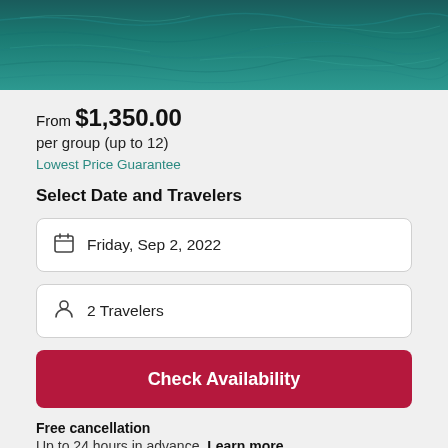[Figure (photo): Aerial view of dark teal ocean water with ripples and waves]
From $1,350.00
per group (up to 12)
Lowest Price Guarantee
Select Date and Travelers
Friday, Sep 2, 2022
2 Travelers
Check Availability
Free cancellation
Up to 24 hours in advance. Learn more